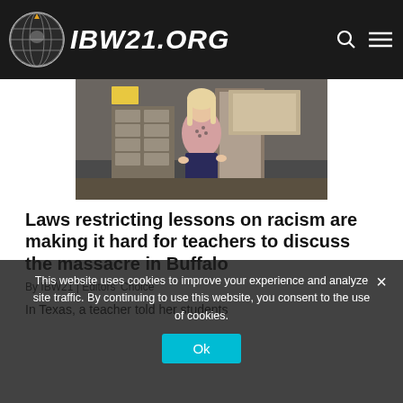IBW21.ORG
[Figure (photo): A woman with blonde hair sits in a classroom doorway, wearing a patterned top and dark skirt, with educational materials visible in the background.]
Laws restricting lessons on racism are making it hard for teachers to discuss the massacre in Buffalo
By IBW21 | Editors Choice
In Texas, a teacher told her students
This website uses cookies to improve your experience and analyze site traffic. By continuing to use this website, you consent to the use of cookies.